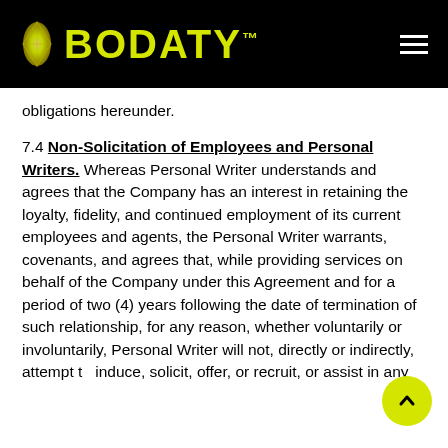BODATY TM
obligations hereunder.
7.4 Non-Solicitation of Employees and Personal Writers. Whereas Personal Writer understands and agrees that the Company has an interest in retaining the loyalty, fidelity, and continued employment of its current employees and agents, the Personal Writer warrants, covenants, and agrees that, while providing services on behalf of the Company under this Agreement and for a period of two (4) years following the date of termination of such relationship, for any reason, whether voluntarily or involuntarily, Personal Writer will not, directly or indirectly, attempt to induce, solicit, offer, or recruit, or assist in any